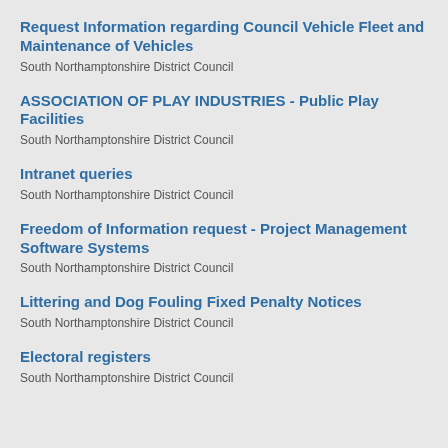Request Information regarding Council Vehicle Fleet and Maintenance of Vehicles
South Northamptonshire District Council
ASSOCIATION OF PLAY INDUSTRIES - Public Play Facilities
South Northamptonshire District Council
Intranet queries
South Northamptonshire District Council
Freedom of Information request - Project Management Software Systems
South Northamptonshire District Council
Littering and Dog Fouling Fixed Penalty Notices
South Northamptonshire District Council
Electoral registers
South Northamptonshire District Council